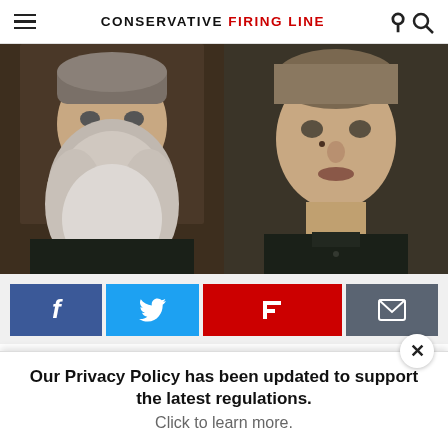CONSERVATIVE FIRING LINE
[Figure (photo): Two side-by-side video stills: left shows a bearded man with a long gray beard; right shows an older clean-shaven man in a dark shirt.]
[Figure (infographic): Social sharing buttons: Facebook (blue), Twitter (light blue), Flipboard (red), Email (gray)]
The Taliban freed two hostages that were kidnapped at
Our Privacy Policy has been updated to support the latest regulations. Click to learn more.